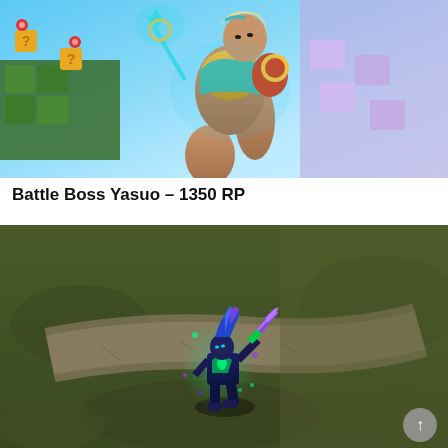[Figure (illustration): Colorful video game splash art showing a female character in gold and teal outfit leaping dynamically, holding a glowing teal trident, against a bright arcade/game-world background with platforms and neon colors.]
Battle Boss Yasuo – 1350 RP
[Figure (screenshot): In-game screenshot of a video game character (Yasuo) wearing the Battle Boss skin — a dark blue and green outfit with glowing purple accents, wielding a sword with green energy effects, standing on a brown/green terrain map.]